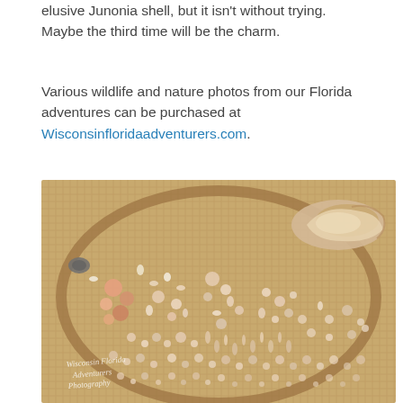elusive Junonia shell, but it isn't without trying. Maybe the third time will be the charm.
Various wildlife and nature photos from our Florida adventures can be purchased at Wisconsinfloridaadventurers.com.
[Figure (photo): A collection of various seashells arranged on a round wicker/rattan tray or table. The shells include a large conch shell in the upper right, small sand dollars, various spiral shells, and many small mixed shells. A watermark reading 'Wisconsin Florida Adventurers Photography' appears in the lower left corner.]